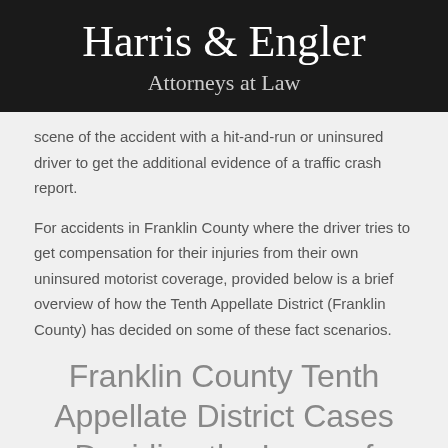Harris & Engler
Attorneys at Law
scene of the accident with a hit-and-run or uninsured driver to get the additional evidence of a traffic crash report.
For accidents in Franklin County where the driver tries to get compensation for their injuries from their own uninsured motorist coverage, provided below is a brief overview of how the Tenth Appellate District (Franklin County) has decided on some of these fact scenarios.
Franklin County Tenth Appellate District Cases Deciding the Issue of Uninsured Motorist